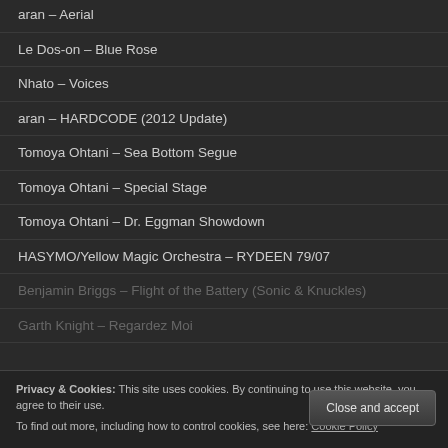aran – Aerial
Le Dos-on – Blue Rose
Nhato – Voices
aran – HARDCODE (2012 Update)
Tomoya Ohtani – Sea Bottom Segue
Tomoya Ohtani – Special Stage
Tomoya Ohtani – Dr. Eggman Showdown
HASYMO/Yellow Magic Orchestra – RYDEEN 79/07
Benjamin Briggs – Flight of the Battery (Sonic & Knuckles)
Garth Knight – Regardez Moi
Privacy & Cookies: This site uses cookies. By continuing to use this website, you agree to their use. To find out more, including how to control cookies, see here: Cookie Policy